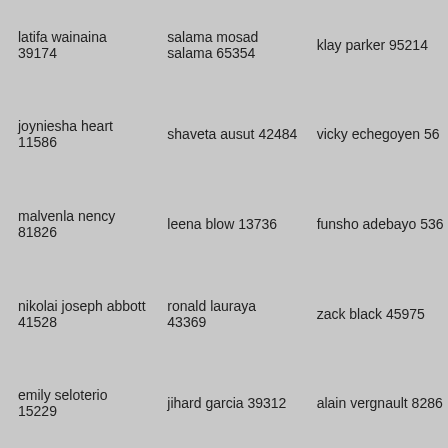latifa wainaina 39174
salama mosad salama 65354
klay parker 95214
joyniesha heart 11586
shaveta ausut 42484
vicky echegoyen 56
malvenla nency 81826
leena blow 13736
funsho adebayo 536
nikolai joseph abbott 41528
ronald lauraya 43369
zack black 45975
emily seloterio 15229
jihard garcia 39312
alain vergnault 8286